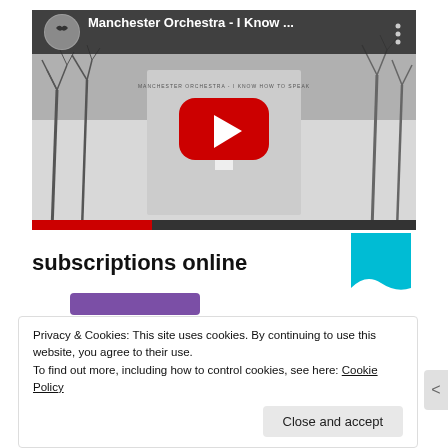[Figure (screenshot): YouTube video embed showing Manchester Orchestra - I Know ... with a black and white thumbnail of a person in a snowy field with bare trees, red YouTube play button overlay, channel icon (bird silhouette), and three-dot menu]
subscriptions online
Privacy & Cookies: This site uses cookies. By continuing to use this website, you agree to their use.
To find out more, including how to control cookies, see here: Cookie Policy
Close and accept